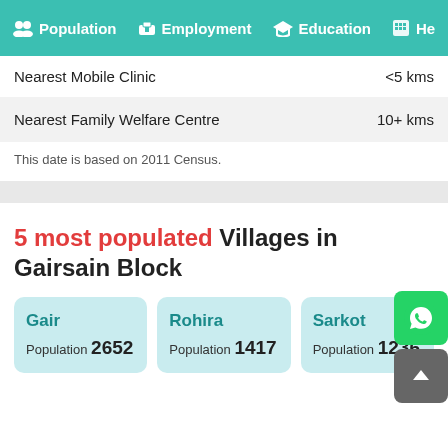Population  Employment  Education  He...
|  |  |
| --- | --- |
| Nearest Mobile Clinic | <5 kms |
| Nearest Family Welfare Centre | 10+ kms |
This date is based on 2011 Census.
5 most populated Villages in Gairsain Block
Gair Population 2652
Rohira Population 1417
Sarkot Population 1236